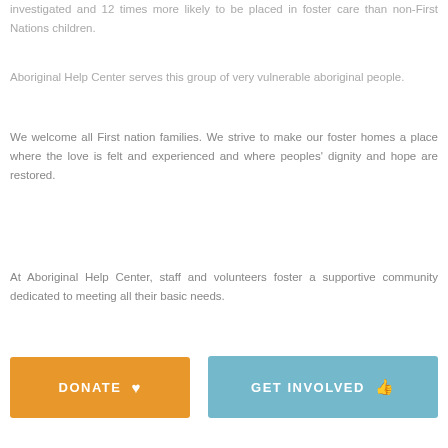investigated and 12 times more likely to be placed in foster care than non-First Nations children.
Aboriginal Help Center serves this group of very vulnerable aboriginal people.
We welcome all First nation families. We strive to make our foster homes a place where the love is felt and experienced and where peoples' dignity and hope are restored.
At Aboriginal Help Center, staff and volunteers foster a supportive community dedicated to meeting all their basic needs.
[Figure (other): Two call-to-action buttons: orange 'DONATE' button with heart icon, and teal/blue 'GET INVOLVED' button with thumbs-up icon]